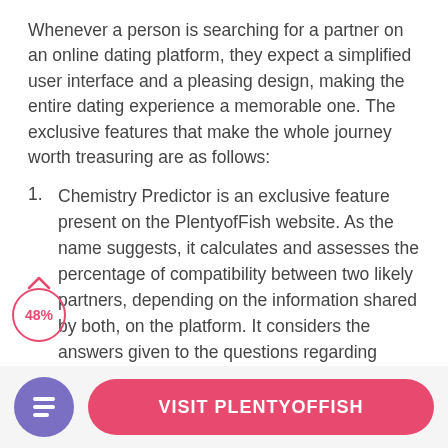Whenever a person is searching for a partner on an online dating platform, they expect a simplified user interface and a pleasing design, making the entire dating experience a memorable one. The exclusive features that make the whole journey worth treasuring are as follows:
Chemistry Predictor is an exclusive feature present on the PlentyofFish website. As the name suggests, it calculates and assesses the percentage of compatibility between two likely partners, depending on the information shared by both, on the platform. It considers the answers given to the questions regarding requires you to answer the questions regarding